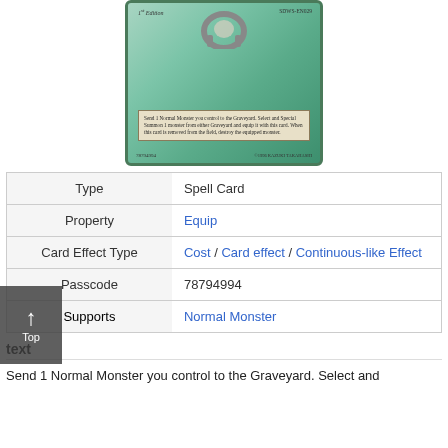[Figure (photo): Yu-Gi-Oh trading card showing bottom half with 1st Edition label, set code SDWS-EN029, card effect text box, passcode 78794994, and copyright 1996 KAZUKI TAKAHASHI on a teal/green background]
| Type | Spell Card |
| --- | --- |
| Property | Equip |
| Card Effect Type | Cost / Card effect / Continuous-like Effect |
| Passcode | 78794994 |
| Supports | Normal Monster |
| --- | --- |
text
Send 1 Normal Monster you control to the Graveyard. Select and